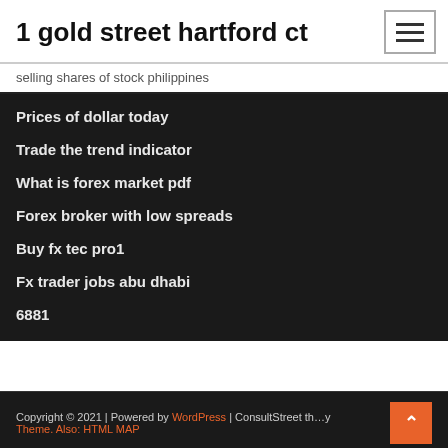1 gold street hartford ct
selling shares of stock philippines
Prices of dollar today
Trade the trend indicator
What is forex market pdf
Forex broker with low spreads
Buy fx tec pro1
Fx trader jobs abu dhabi
6881
Copyright © 2021 | Powered by WordPress | ConsultStreet th…y Theme. Also: HTML MAP